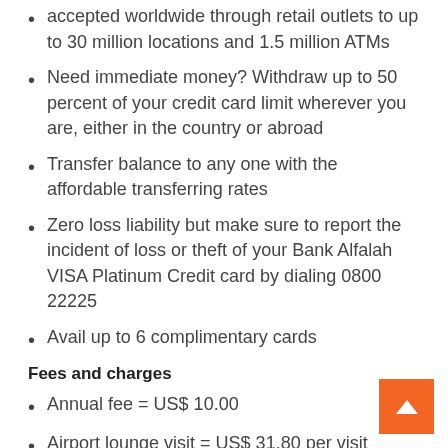accepted worldwide through retail outlets to up to 30 million locations and 1.5 million ATMs
Need immediate money? Withdraw up to 50 percent of your credit card limit wherever you are, either in the country or abroad
Transfer balance to any one with the affordable transferring rates
Zero loss liability but make sure to report the incident of loss or theft of your Bank Alfalah VISA Platinum Credit card by dialing 0800 22225
Avail up to 6 complimentary cards
Fees and charges
Annual fee = US$ 10.00
Airport lounge visit = US$ 31.80 per visit